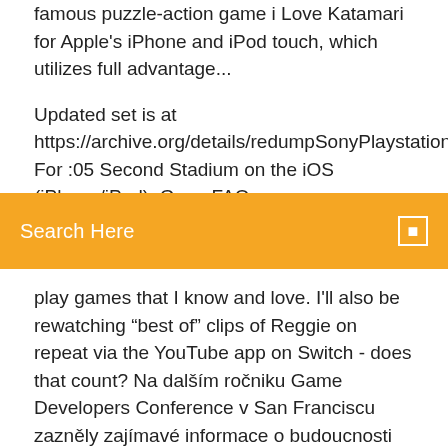famous puzzle-action game i Love Katamari for Apple's iPhone and iPod touch, which utilizes full advantage...
Updated set is at https://archive.org/details/redumpSonyPlaystation2UsaGames201 For :05 Second Stadium on the iOS (iPhone/iPad), GameFAQs.
Search Here
play games that I know and love. I'll also be rewatching "best of" clips of Reggie on repeat via the YouTube app on Switch - does that count? Na dalším ročniku Game Developers Conference v San Franciscu zazněly zajímavé informace o budoucnosti hraní na konzolich příští generace - Xboxu 2. The series primarily centers on the career of a producer who works with a group of prospective pop idols at the talent agency 765 Production. The success of the series has lend itself to other forms of media, including soundtrack CDs, apparel, garage kits and literature.